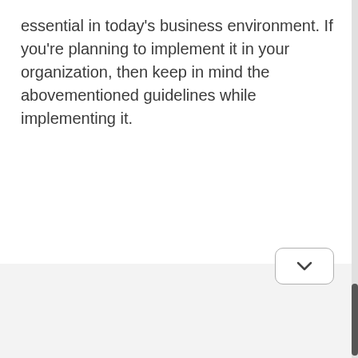essential in today's business environment. If you're planning to implement it in your organization, then keep in mind the abovementioned guidelines while implementing it.